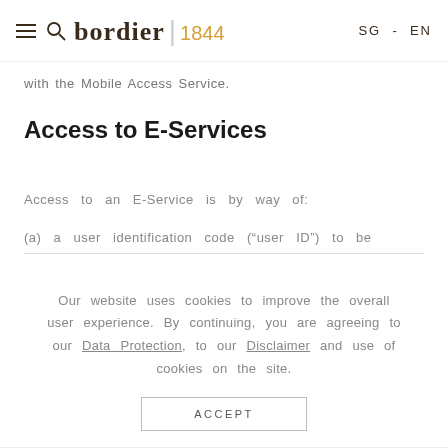bordier 1844  SG - EN
with the Mobile Access Service.
Access to E-Services
Access to an E-Service is by way of:
(a) a user identification code (“user ID”) to be
Our website uses cookies to improve the overall user experience. By continuing, you are agreeing to our Data Protection, to our Disclaimer and use of cookies on the site.
ACCEPT